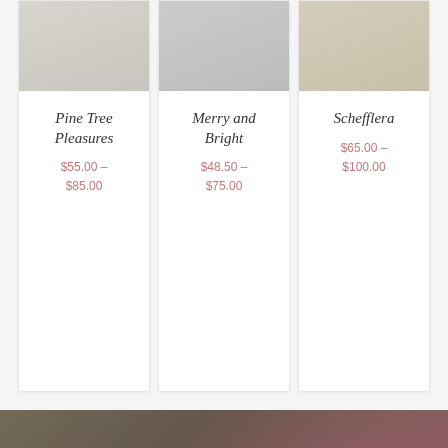[Figure (illustration): Product card for Pine Tree Pleasures with image placeholder at top]
Pine Tree Pleasures
$55.00 – $85.00
[Figure (illustration): Product card for Merry and Bright with image placeholder at top]
Merry and Bright
$48.50 – $75.00
[Figure (illustration): Product card for Schefflera with wicker basket image at top]
Schefflera
$65.00 – $100.00
[Figure (photo): Background photo of floral arrangement with pinks, greens and woven basket elements, overlaid with large white uppercase text]
A RENOWNED FLORAL DESIGNER, CINDY MARKVICKA LENDS HER IMPECCABLE ATTENTION